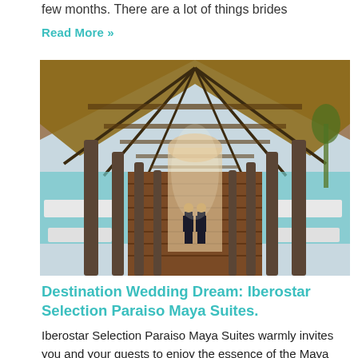few months. There are a lot of things brides
Read More »
[Figure (photo): Two people in formal attire standing at the end of a long covered outdoor corridor with wooden pillars and thatched roofing at a tropical resort, with pool areas visible on the sides.]
Destination Wedding Dream: Iberostar Selection Paraiso Maya Suites.
Iberostar Selection Paraiso Maya Suites warmly invites you and your guests to enjoy the essence of the Maya civilization. You'll be inspired instantly as you enjoy the lobby bar. Fashioned after the spirit of the legendary ... of Chichen It...